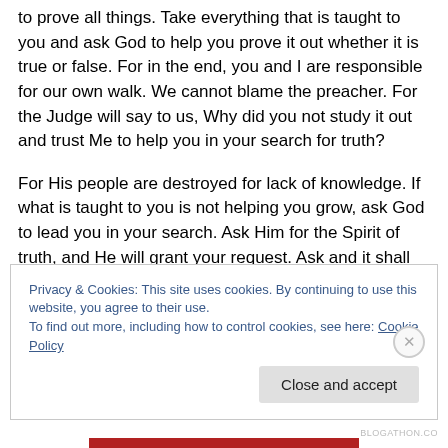to prove all things. Take everything that is taught to you and ask God to help you prove it out whether it is true or false. For in the end, you and I are responsible for our own walk. We cannot blame the preacher. For the Judge will say to us, Why did you not study it out and trust Me to help you in your search for truth?
For His people are destroyed for lack of knowledge. If what is taught to you is not helping you grow, ask God to lead you in your search. Ask Him for the Spirit of truth, and He will grant your request. Ask and it shall be given. Once
Privacy & Cookies: This site uses cookies. By continuing to use this website, you agree to their use.
To find out more, including how to control cookies, see here: Cookie Policy
Close and accept